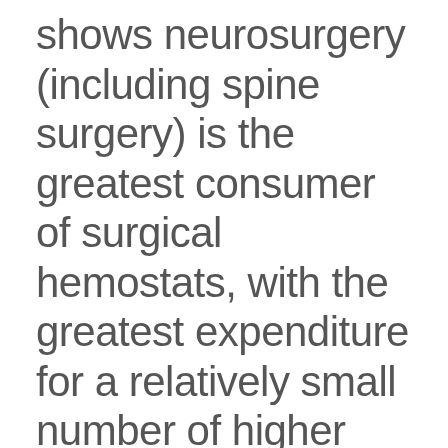shows neurosurgery (including spine surgery) is the greatest consumer of surgical hemostats, with the greatest expenditure for a relatively small number of higher cost hemostats. It may be that there is a need to examine how and when hemostats are used in spine surgery